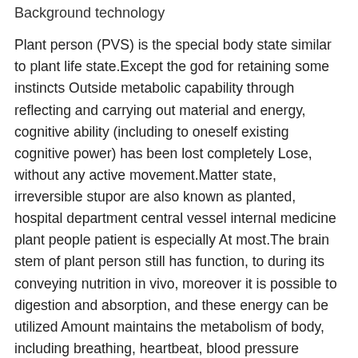Background technology
Plant person (PVS) is the special body state similar to plant life state.Except the god for retaining some instincts Outside metabolic capability through reflecting and carrying out material and energy, cognitive ability (including to oneself existing cognitive power) has been lost completely Lose, without any active movement.Matter state, irreversible stupor are also known as planted, hospital department central vessel internal medicine plant people patient is especially At most.The brain stem of plant person still has function, to during its conveying nutrition in vivo, moreover it is possible to digestion and absorption, and these energy can be utilized Amount maintains the metabolism of body, including breathing, heartbeat, blood pressure etc..The reflection of some instincts, such as cough can be also produced to environmental stimuli Cough, sneeze, yawn.But body is without distinctive higher nervous activities of the mankind such as consciousness, consciousness, thinkings.Electroencephalogram is in Spuious waveform.Internal Medicine-Cardiovascular Dept. persistent vegetative state is different from brain death,